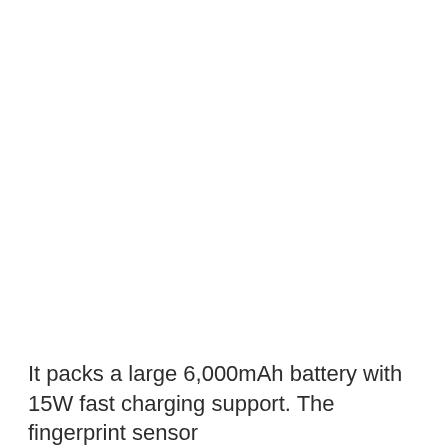It packs a large 6,000mAh battery with 15W fast charging support. The fingerprint sensor